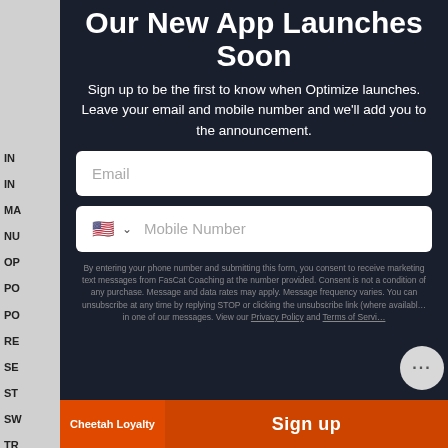Our New App Launches Soon
Sign up to be the first to know when Optimize launches. Leave your email and mobile number and we'll add you to the announcement.
Email (input field placeholder)
Mobile Number (input field placeholder with US flag and dropdown)
By entering your phone number and submitting this form, you consent to receive marketing text messages from FasCat Coaching at the number provided. Consent is not a condition of any purchase. Message and data rates may apply. Message frequency varies. You can unsubscribe at any time by replying STOP or clicking the unsubscribe link (where available) in one of our messages. View our Privacy Policy and Terms of Service.
Cheetah Loyalty
Sign up